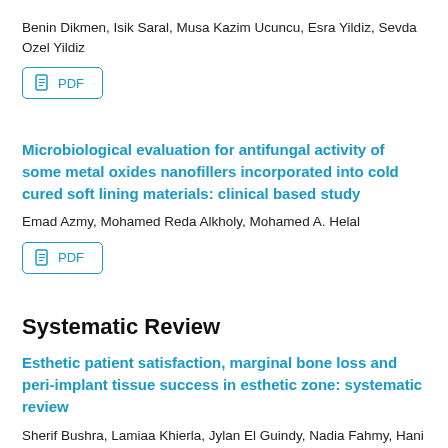Benin Dikmen, Isik Saral, Musa Kazim Ucuncu, Esra Yildiz, Sevda Ozel Yildiz
[Figure (other): PDF button/link]
Microbiological evaluation for antifungal activity of some metal oxides nanofillers incorporated into cold cured soft lining materials: clinical based study
Emad Azmy, Mohamed Reda Alkholy, Mohamed A. Helal
[Figure (other): PDF button/link]
Systematic Review
Esthetic patient satisfaction, marginal bone loss and peri-implant tissue success in esthetic zone: systematic review
Sherif Bushra, Lamiaa Khierla, Jylan El Guindy, Nadia Fahmy, Hani El Nahass
[Figure (other): PDF button/link (partially visible)]